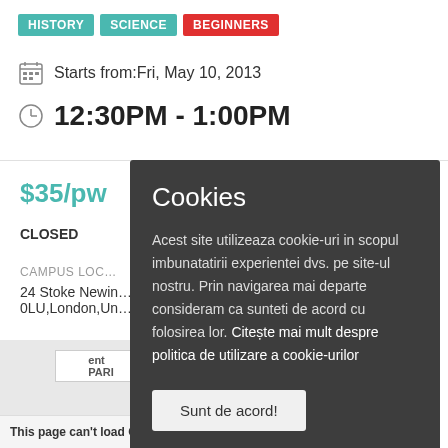HISTORY
SCIENCE
BEGINNERS
Starts from:Fri, May 10, 2013
12:30PM - 1:00PM
$35/pw
CLOSED
CAMPUS LOC…
24 Stoke Newin…
0LU,London,Un…
[Figure (screenshot): Google Maps embed with error message: This page can't load Google Maps correctly.]
Cookies

Acest site utilizeaza cookie-uri in scopul imbunatatirii experientei dvs. pe site-ul nostru. Prin navigarea mai departe consideram ca sunteti de acord cu folosirea lor. Citește mai mult despre politica de utilizare a cookie-urilor

Sunt de acord!